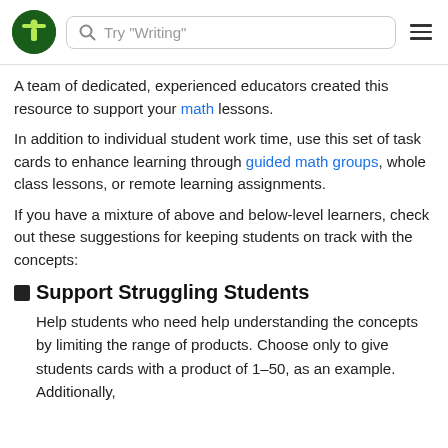Try "Writing"
A team of dedicated, experienced educators created this resource to support your math lessons.
In addition to individual student work time, use this set of task cards to enhance learning through guided math groups, whole class lessons, or remote learning assignments.
If you have a mixture of above and below-level learners, check out these suggestions for keeping students on track with the concepts:
⬛ Support Struggling Students
Help students who need help understanding the concepts by limiting the range of products. Choose only to give students cards with a product of 1–50, as an example. Additionally,